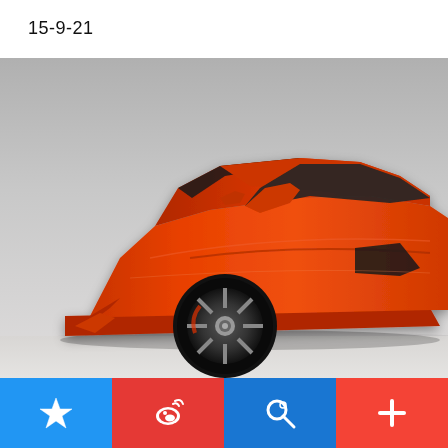15-9-21
[Figure (photo): Side profile photograph of an orange Lamborghini Aventador supercar on a light grey background, showing the front wheel, aerodynamic body lines, scissor door hinge, and partial rear section.]
[Figure (infographic): Bottom toolbar with four colored buttons: blue (star/bookmark icon), red (Weibo social media icon), steel-blue (search icon), and orange-red (plus/add icon).]